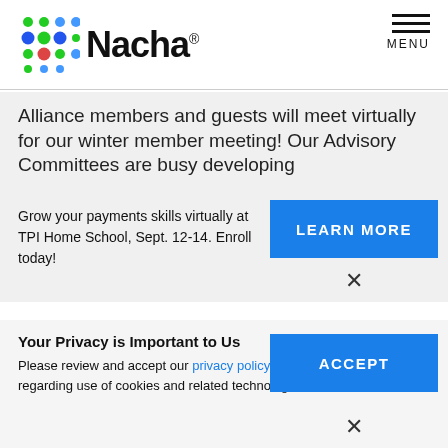[Figure (logo): Nacha logo with colorful dot grid on left and bold 'Nacha' text on right]
MENU
Alliance members and guests will meet virtually for our winter member meeting! Our Advisory Committees are busy developing
Grow your payments skills virtually at TPI Home School, Sept. 12-14. Enroll today!
LEARN MORE
×
Your Privacy is Important to Us
Please review and accept our privacy policy regarding use of cookies and related technologies.
ACCEPT
×